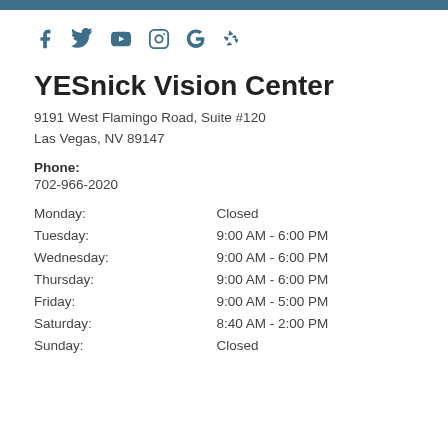[Figure (infographic): Social media icons row: Facebook, Twitter, YouTube, Instagram, Google, Yelp in dark blue/teal color]
YESnick Vision Center
9191 West Flamingo Road, Suite #120
Las Vegas, NV 89147
Phone:
702-966-2020
| Day | Hours |
| --- | --- |
| Monday: | Closed |
| Tuesday: | 9:00 AM - 6:00 PM |
| Wednesday: | 9:00 AM - 6:00 PM |
| Thursday: | 9:00 AM - 6:00 PM |
| Friday: | 9:00 AM - 5:00 PM |
| Saturday: | 8:40 AM - 2:00 PM |
| Sunday: | Closed |